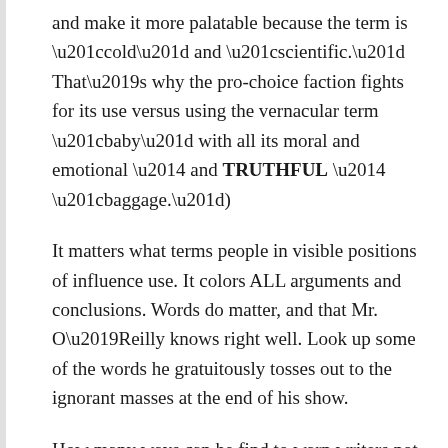and make it more palatable because the term is “cold” and “scientific.” That’s why the pro-choice faction fights for its use versus using the vernacular term “baby” with all its moral and emotional — and TRUTHFUL — “baggage.”)
It matters what terms people in visible positions of influence use. It colors ALL arguments and conclusions. Words do matter, and that Mr. O’Reilly knows right well. Look up some of the words he gratuitously tosses out to the ignorant masses at the end of his show.
How many ways can he find to warn writers not to express dissatisfaction with him and his positions in anything but polite terms, and keep their comments